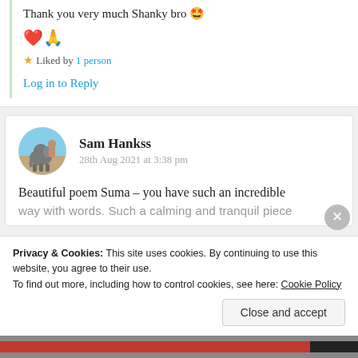Thank you very much Shanky bro 🤩
❤️🙏
⭐ Liked by 1 person
Log in to Reply
Sam Hankss
28th Aug 2021 at 3:38 pm
Beautiful poem Suma – you have such an incredible way with words. Such a calming and tranquil piece
Privacy & Cookies: This site uses cookies. By continuing to use this website, you agree to their use.
To find out more, including how to control cookies, see here: Cookie Policy
Close and accept